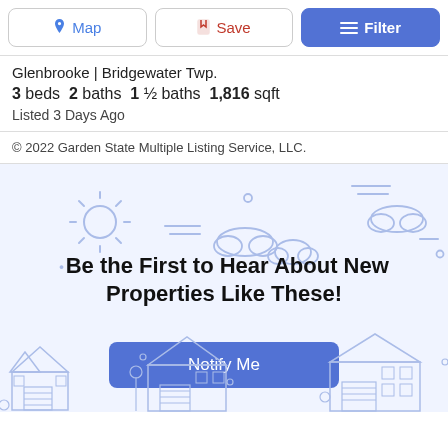[Figure (screenshot): Toolbar with Map, Save, and Filter buttons at the top of a real estate listing page]
Glenbrooke | Bridgewater Twp.
3 beds  2 baths  1 ½ baths  1,816 sqft
Listed 3 Days Ago
© 2022 Garden State Multiple Listing Service, LLC.
[Figure (illustration): Decorative illustration with sun, clouds, and house outlines in light blue, with CTA text 'Be the First to Hear About New Properties Like These!' and a 'Notify Me' button]